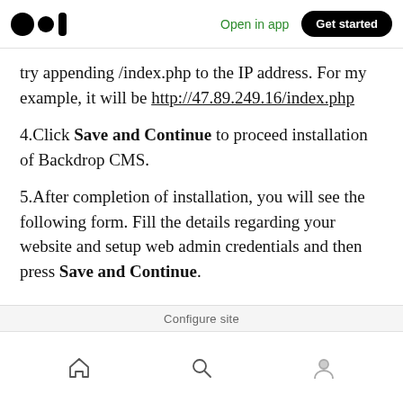Open in app | Get started
try appending /index.php to the IP address. For my example, it will be http://47.89.249.16/index.php
4.Click Save and Continue to proceed installation of Backdrop CMS.
5.After completion of installation, you will see the following form. Fill the details regarding your website and setup web admin credentials and then press Save and Continue.
[Figure (screenshot): Partially visible 'Configure site' form screenshot at the bottom of the content area]
Home | Search | Profile navigation icons